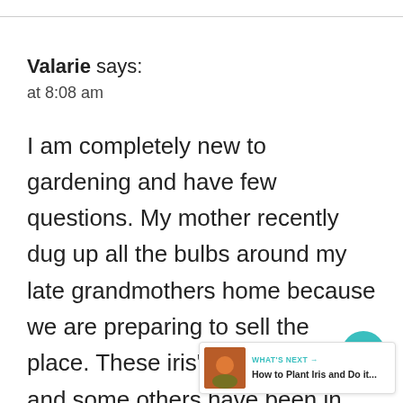Valarie says:
at 8:08 am
I am completely new to gardening and have few questions. My mother recently dug up all the bulbs around my late grandmothers home because we are preparing to sell the place. These iris', tulips, daffodils, and some others have been in our family for at least 70yrs. They were my great